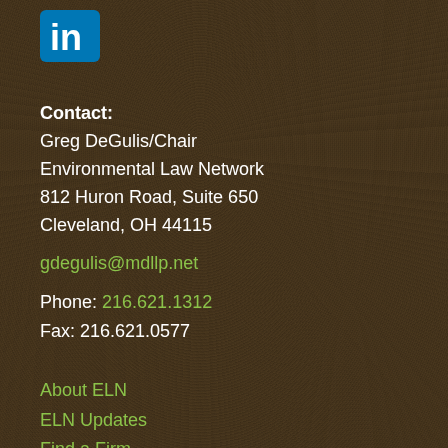[Figure (logo): LinkedIn logo - blue rounded square with white 'in' text]
Contact:
Greg DeGulis/Chair
Environmental Law Network
812 Huron Road, Suite 650
Cleveland, OH 44115
gdegulis@mdllp.net
Phone: 216.621.1312
Fax: 216.621.0577
About ELN
ELN Updates
Find a Firm
Mediation Services